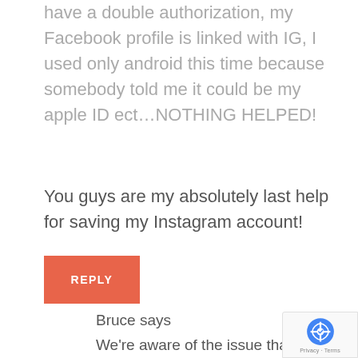have a double authorization, my Facebook profile is linked with IG, I used only android this time because somebody told me it could be my apple ID ect…NOTHING HELPED!
You guys are my absolutely last help for saving my Instagram account!
REPLY
Bruce says
We're aware of the issue that some of our clients are experiencing and trust me, we're